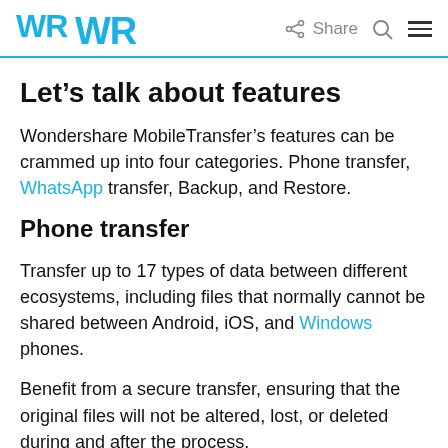WR  Share  [search]  [menu]
Let’s talk about features
Wondershare MobileTransfer’s features can be crammed up into four categories. Phone transfer, WhatsApp transfer, Backup, and Restore.
Phone transfer
Transfer up to 17 types of data between different ecosystems, including files that normally cannot be shared between Android, iOS, and Windows phones.
Benefit from a secure transfer, ensuring that the original files will not be altered, lost, or deleted during and after the process.